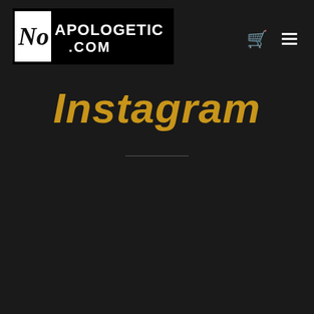NoApologetic.com navigation header with logo and icons
Instagram